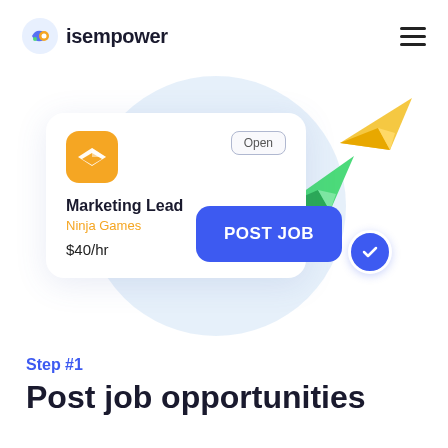isempower
[Figure (illustration): Illustration showing a job posting card for 'Marketing Lead' at Ninja Games ($40/hr) with an 'Open' badge, a blue 'POST JOB' button with a checkmark circle, green and yellow paper airplane icons, on a light blue circular background.]
Step #1
Post job opportunities